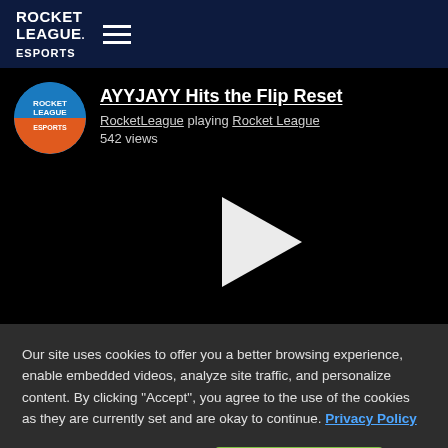ROCKET LEAGUE ESPORTS
AYYJAYY Hits the Flip Reset
RocketLeague playing Rocket League
542 views
[Figure (screenshot): Video thumbnail showing Rocket League Esports logo with a black background and a white play button triangle in the center]
Our site uses cookies to offer you a better browsing experience, enable embedded videos, analyze site traffic, and personalize content. By clicking “Accept”, you agree to the use of the cookies as they are currently set and are okay to continue. Privacy Policy
Cookies Settings
Accept